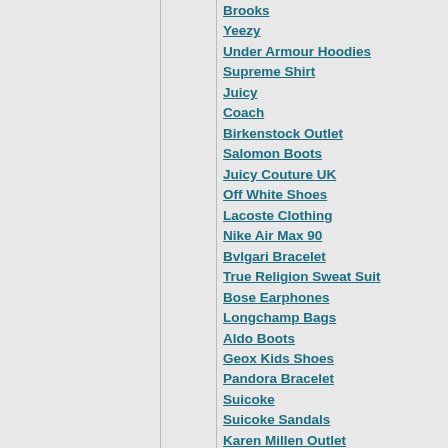Brooks
Yeezy
Under Armour Hoodies
Supreme Shirt
Juicy
Coach
Birkenstock Outlet
Salomon Boots
Juicy Couture UK
Off White Shoes
Lacoste Clothing
Nike Air Max 90
Bvlgari Bracelet
True Religion Sweat Suit
Bose Earphones
Longchamp Bags
Aldo Boots
Geox Kids Shoes
Pandora Bracelet
Suicoke
Suicoke Sandals
Karen Millen Outlet
Salvatore Ferragamo
Calvin Klein Dresses
Birkenstock UK
Fitflop Sandals
Ferragamo
Fitflops Clearance
Balenciagas
Nike Factory
Armani Shoes
Air Jordan
Off White Hoodie
Supreme Hoodie
Bape Shorts
Fila Sneakers
Armani
Hydro Flask Sale